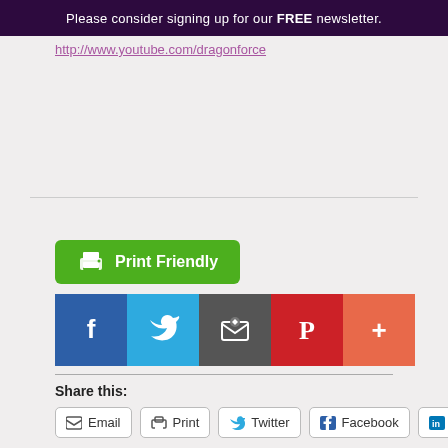Please consider signing up for our FREE newsletter.
http://www.youtube.com/dragonforce
[Figure (infographic): Print Friendly green button with printer icon]
[Figure (infographic): Social sharing icons row: Facebook (blue), Twitter (light blue), Email (dark gray), Pinterest (red), More (orange)]
Share this:
Email  Print  Twitter  Facebook  LinkedIn
IN : Music